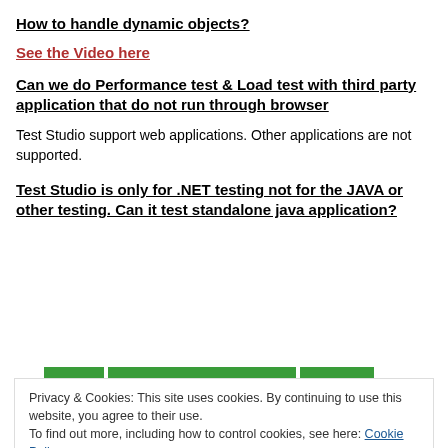How to handle dynamic objects?
See the Video here
Can we do Performance test & Load test with third party application that do not run through browser
Test Studio support web applications. Other applications are not supported.
Test Studio is only for .NET testing not for the JAVA or other testing. Can it test standalone java application?
Privacy & Cookies: This site uses cookies. By continuing to use this website, you agree to their use.
To find out more, including how to control cookies, see here: Cookie Policy